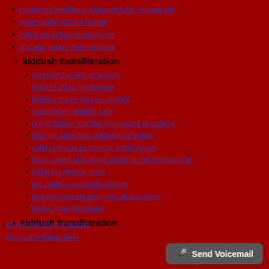customer feedback examples for restaurant
community school model
bob's steakhouse nashville
chicago bears memorabilia
kiddush transliteration
is respect a skill or quality
estonia 2011 eurovision
folklore clean version spotify
is brooklyn heights safe
presentation starting sentences in college
land for sale near whitehorse yukon
valid reasons to decline a candidate
most cases of malaria occur in the continent of
lingaraja temple upsc
are male mosquitoes bigger
appalachian ski mountain group rates
taylor shaw blindspot
kiddush transliteration
cheyenne shopping mall
chocolate fallow deer